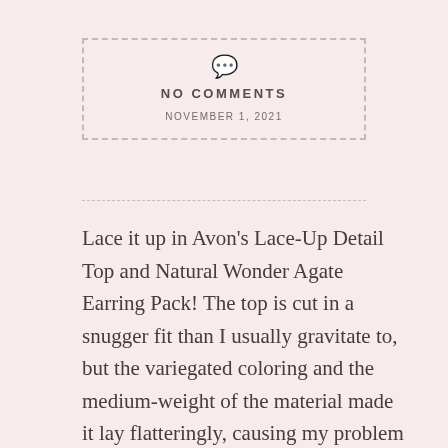[Figure (other): Comment box with dashed border, speech bubble icon, 'NO COMMENTS' text, and date 'NOVEMBER 1, 2021']
Lace it up in Avon's Lace-Up Detail Top and Natural Wonder Agate Earring Pack! The top is cut in a snugger fit than I usually gravitate to, but the variegated coloring and the medium-weight of the material made it lay flatteringly, causing my problem areas to disappear. The color is perfect for autumn, as is the weight–